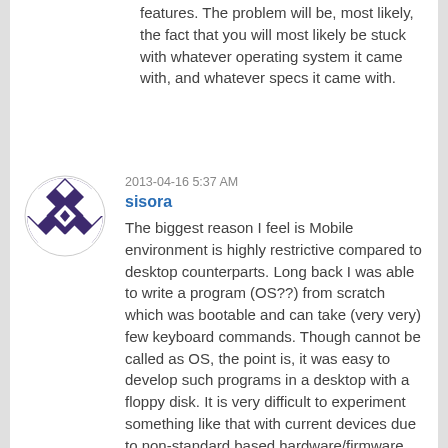features. The problem will be, most likely, the fact that you will most likely be stuck with whatever operating system it came with, and whatever specs it came with.
2013-04-16 5:37 AM
sisora
[Figure (illustration): Circular avatar with a geometric diamond/checkerboard pattern in dark purple and white]
The biggest reason I feel is Mobile environment is highly restrictive compared to desktop counterparts. Long back I was able to write a program (OS??) from scratch which was bootable and can take (very very) few keyboard commands. Though cannot be called as OS, the point is, it was easy to develop such programs in a desktop with a floppy disk. It is very difficult to experiment something like that with current devices due to non-standard based hardware/firmware etc.